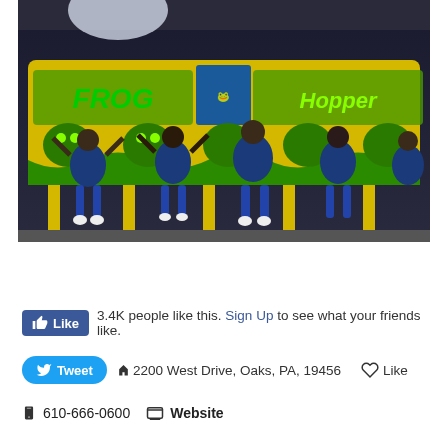[Figure (photo): Children riding a frog-themed amusement park ride called Frog Hopper, with colorful yellow and green decor. Kids are seated in the ride with hands raised, appearing to enjoy the attraction.]
Share 2.4K
Like 3.4K people like this. Sign Up to see what your friends like.
Tweet  2200 West Drive, Oaks, PA, 19456  Like
610-666-0600  Website